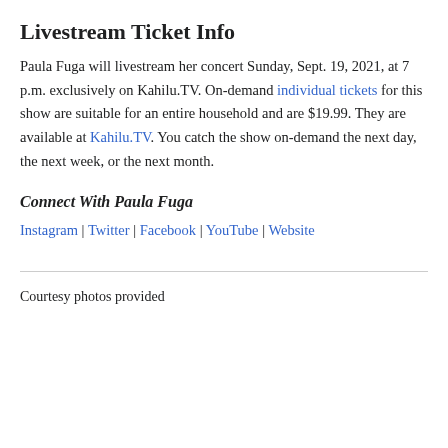Livestream Ticket Info
Paula Fuga will livestream her concert Sunday, Sept. 19, 2021, at 7 p.m. exclusively on Kahilu.TV. On-demand individual tickets for this show are suitable for an entire household and are $19.99. They are available at Kahilu.TV. You catch the show on-demand the next day, the next week, or the next month.
Connect With Paula Fuga
Instagram | Twitter | Facebook | YouTube | Website
Courtesy photos provided